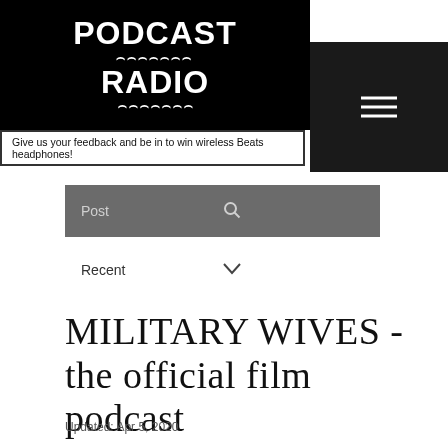[Figure (logo): Podcast Radio logo in white text on black background with decorative arc elements]
Give us your feedback and be in to win wireless Beats headphones!
Post
Recent
MILITARY WIVES - the official film podcast
Updated: Apr 5, 2020